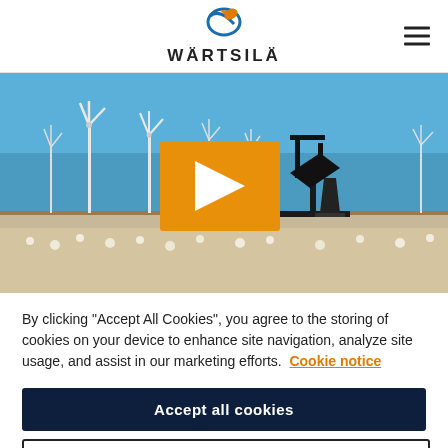[Figure (logo): Wärtsilä logo with blue ellipse icon and company name in bold spaced capitals]
[Figure (screenshot): Video thumbnail showing wind turbines and an oil pump jack in a field under blue sky, with an orange play button overlay]
By clicking “Accept All Cookies”, you agree to the storing of cookies on your device to enhance site navigation, analyze site usage, and assist in our marketing efforts. Cookie notice
Accept all cookies
Cookies settings